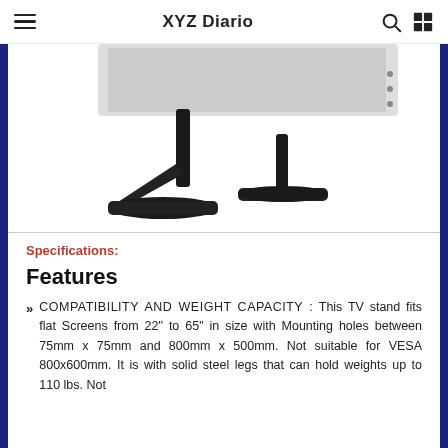☰  XYZ Diario  🔍 ⊞
[Figure (photo): Black TV stand with two legs — a tall angled leg on the left and a shorter T-shaped leg on the right — shown against a white background with a grey TV panel partially visible at top.]
Specifications:
Features
COMPATIBILITY AND WEIGHT CAPACITY : This TV stand fits flat Screens from 22" to 65" in size with Mounting holes between 75mm x 75mm and 800mm x 500mm. Not suitable for VESA 800x600mm. It is with solid steel legs that can hold weights up to 110 lbs. Not